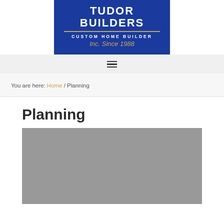[Figure (logo): Tudor Builders Custom Home Builder logo on blue background with gold divider line. Text reads: TUDOR BUILDERS / CUSTOM HOME BUILDER / Inc. Since 1988]
Navigation menu icon (hamburger)
You are here: Home / Planning
Planning
[Figure (photo): Gray placeholder image for Planning page content photo]